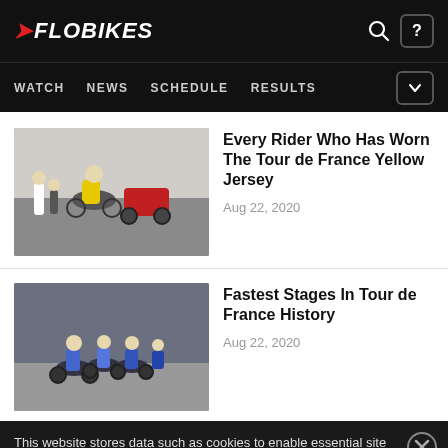FLOBIKES — WATCH  NEWS  SCHEDULE  RESULTS
[Figure (screenshot): Thumbnail image of cyclist in yellow jersey with motorcycle support vehicle]
Every Rider Who Has Worn The Tour de France Yellow Jersey
Aug 22, 2020
[Figure (screenshot): Thumbnail image of cyclists racing in a pack, blue jerseys]
Fastest Stages In Tour de France History
Aug 22, 2020
This website stores data such as cookies to enable essential site functionality, as well as marketing, personalization, and analytics. By remaining on this website you indicate your consent. Data Storage Policy